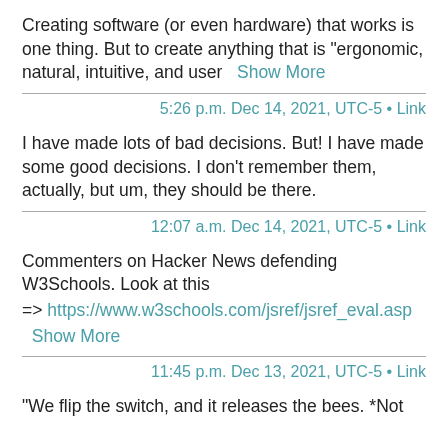Creating software (or even hardware) that works is one thing. But to create anything that is "ergonomic, natural, intuitive, and user   Show More
5:26 p.m. Dec 14, 2021, UTC-5 • Link
I have made lots of bad decisions. But! I have made some good decisions. I don't remember them, actually, but um, they should be there.
12:07 a.m. Dec 14, 2021, UTC-5 • Link
Commenters on Hacker News defending W3Schools. Look at this
=> https://www.w3schools.com/jsref/jsref_eval.asp
   Show More
11:45 p.m. Dec 13, 2021, UTC-5 • Link
"We flip the switch, and it releases the bees. *Not